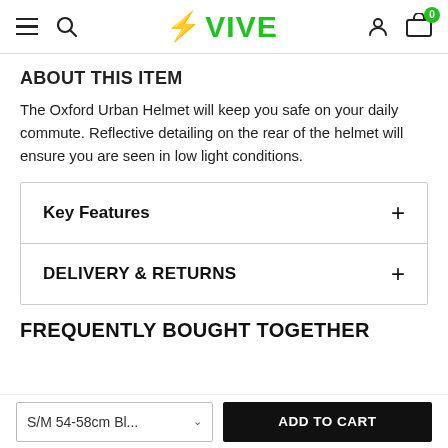VIVE
ABOUT THIS ITEM
The Oxford Urban Helmet will keep you safe on your daily commute. Reflective detailing on the rear of the helmet will ensure you are seen in low light conditions.
Key Features +
DELIVERY & RETURNS +
FREQUENTLY BOUGHT TOGETHER
S/M 54-58cm Bl...   ADD TO CART